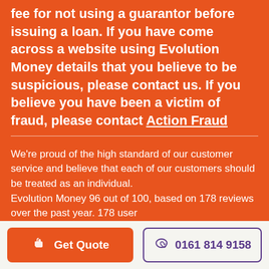fee for not using a guarantor before issuing a loan. If you have come across a website using Evolution Money details that you believe to be suspicious, please contact us. If you believe you have been a victim of fraud, please contact Action Fraud
We're proud of the high standard of our customer service and believe that each of our customers should be treated as an individual. Evolution Money 96 out of 100, based on 178 reviews over the past year. 178 user
Get Quote
0161 814 9158